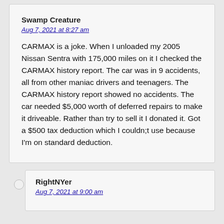Swamp Creature
Aug 7, 2021 at 8:27 am
CARMAX is a joke. When I unloaded my 2005 Nissan Sentra with 175,000 miles on it I checked the CARMAX history report. The car was in 9 accidents, all from other maniac drivers and teenagers. The CARMAX history report showed no accidents. The car needed $5,000 worth of deferred repairs to make it driveable. Rather than try to sell it I donated it. Got a $500 tax deduction which I couldn;t use because I'm on standard deduction.
RightNYer
Aug 7, 2021 at 9:00 am